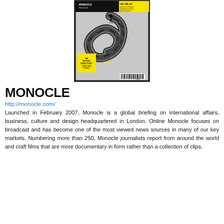[Figure (photo): Magazine cover of Monocle featuring a spiraling staircase with a person walking on it, black and white design with yellow accents including a Design Directory badge and yellow arrow. Barcode visible at bottom right.]
MONOCLE
http://monocle.com/
Launched in February 2007, Monocle is a global briefing on international affairs, business, culture and design headquartered in London. Online Monocle focuses on broadcast and has become one of the most viewed news sources in many of our key markets. Numbering more than 250, Monocle journalists report from around the world and craft films that are more documentary in form rather than a collection of clips.